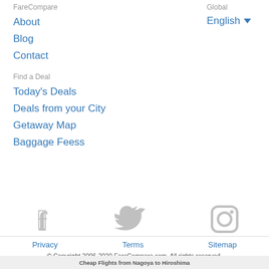FareCompare
About
Blog
Contact
Global
English ▾
Find a Deal
Today's Deals
Deals from your City
Getaway Map
Baggage Feess
[Figure (illustration): Social media icons: Facebook, Twitter, Instagram in gray]
Privacy   Terms   Sitemap
© Copyright 2006-2020 FareCompare.com. All rights reserved.
Cheap Flights from Nagoya to Hiroshima